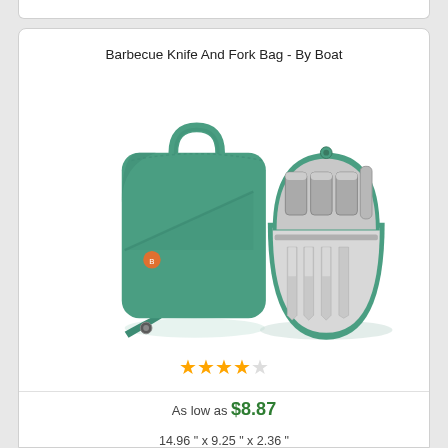Barbecue Knife And Fork Bag - By Boat
[Figure (photo): Product photo showing a green barbecue knife and fork bag. Left side shows the closed green bag with handle and orange logo detail. Right side shows the bag open with stainless steel utensils/knives stored inside the gray interior.]
★★★★☆
As low as $8.87
14.96 " x 9.25 " x 2.36 "